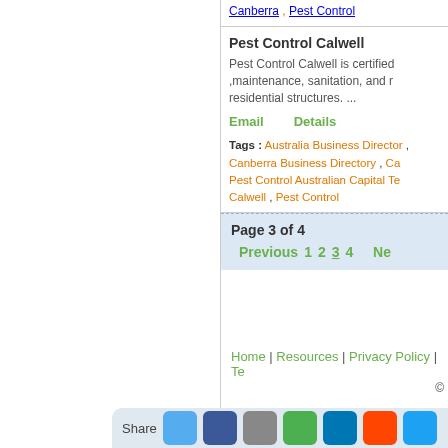Canberra , Pest Control
Pest Control Calwell
Pest Control Calwell is certified ,maintenance, sanitation, and r residential structures. ...
Email    Details
Tags : Australia Business Directory , Canberra Business Directory , Ca Pest Control Australian Capital Te Calwell , Pest Control
Page 3 of 4
Previous  1  2  3  4  Ne
Home | Resources | Privacy Policy | Te
©
Share